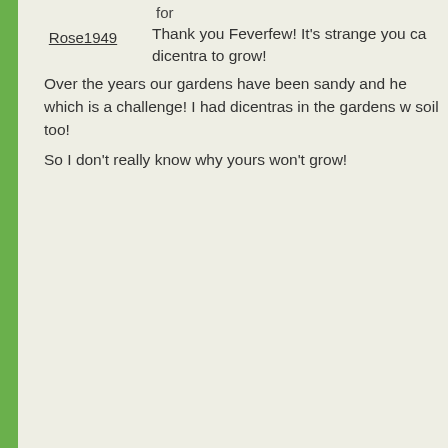for
Thank you Feverfew! It's strange you ca... dicentra to grow!
Over the years our gardens have been sandy and he... which is a challenge! I had dicentras in the gardens w... soil too!
So I don't really know why yours won't grow!
Rose1949
[Figure (photo): Avatar photo of Homebird2 showing garden with white flowers and green foliage]
Homebird2
You have the most lovely blossoms out... garden. That Canary Bird tree is so unu... attractive yellow flowers, I would love o...
[Figure (photo): Avatar photo of Wildrose showing a pink rose flower]
Wildrose
Rose I love your aquilegia - what a beau... colours. A lot of aquilegias have gone n... garden and I am not sure why. Your cra...